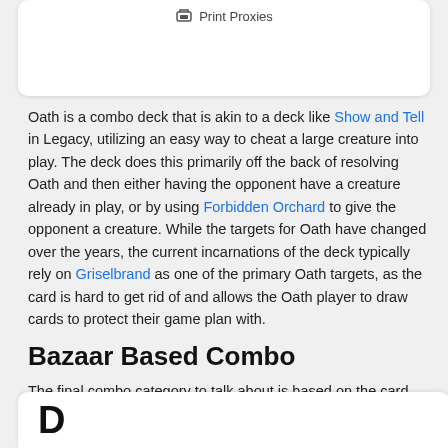Oath is a combo deck that is akin to a deck like Show and Tell in Legacy, utilizing an easy way to cheat a large creature into play. The deck does this primarily off the back of resolving Oath and then either having the opponent have a creature already in play, or by using Forbidden Orchard to give the opponent a creature. While the targets for Oath have changed over the years, the current incarnations of the deck typically rely on Griselbrand as one of the primary Oath targets, as the card is hard to get rid of and allows the Oath player to draw cards to protect their game plan with.
Bazaar Based Combo
The final combo category to talk about is based on the card Bazaar of Baghdad. Bazaar is often at the heart of aggressive combo/aggro decks, the primary of which is Dredge.